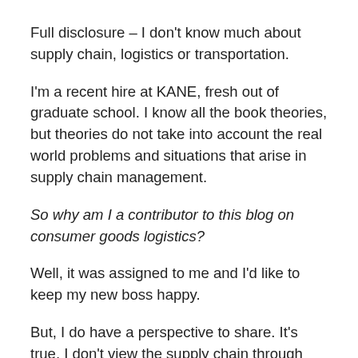Full disclosure – I don't know much about supply chain, logistics or transportation.
I'm a recent hire at KANE, fresh out of graduate school. I know all the book theories, but theories do not take into account the real world problems and situations that arise in supply chain management.
So why am I a contributor to this blog on consumer goods logistics?
Well, it was assigned to me and I'd like to keep my new boss happy.
But, I do have a perspective to share. It's true, I don't view the supply chain through experienced eyes. However, I do view it through fresh eyes. Eyes that, while a little naïve and impatient, are more hard-wired